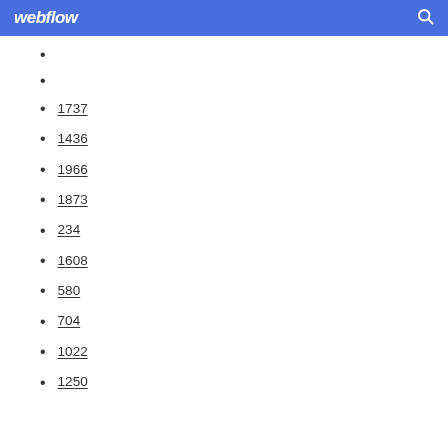webflow
1737
1436
1966
1873
234
1608
580
704
1022
1250